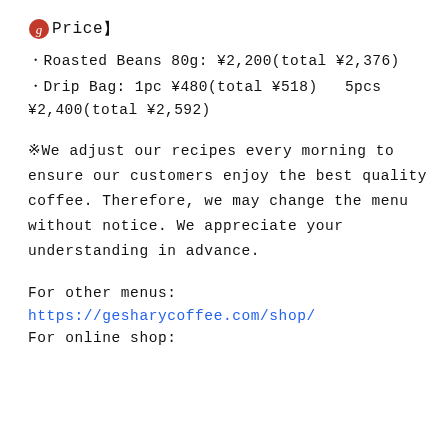Price
Roasted Beans 80g: ¥2,200(total ¥2,376)
Drip Bag: 1pc ¥480(total ¥518)   5pcs ¥2,400(total ¥2,592)
※We adjust our recipes every morning to ensure our customers enjoy the best quality coffee. Therefore, we may change the menu without notice. We appreciate your understanding in advance.
For other menus:
https://gesharycoffee.com/shop/
For online shop: